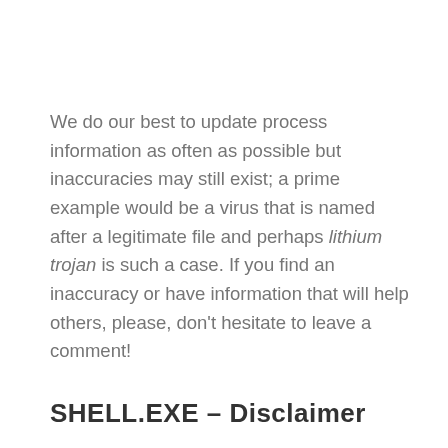We do our best to update process information as often as possible but inaccuracies may still exist; a prime example would be a virus that is named after a legitimate file and perhaps lithium trojan is such a case. If you find an inaccuracy or have information that will help others, please, don't hesitate to leave a comment!
SHELL.EXE – Disclaimer